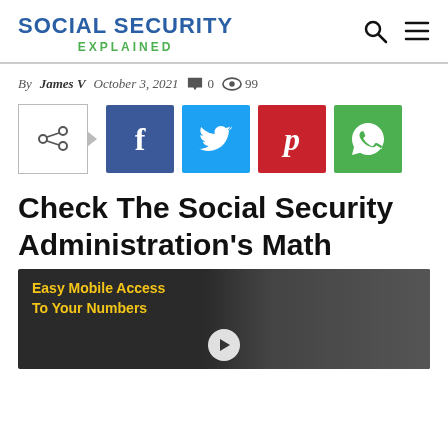SOCIAL SECURITY EXPLAINED
By James V   October 3, 2021   💬 0   👁 99
[Figure (infographic): Social share buttons: share icon, Facebook, Twitter, Pinterest, WhatsApp]
Check The Social Security Administration's Math
[Figure (screenshot): Video thumbnail showing a woman with text overlay 'Easy Mobile Access To Your Numbers' and a play button]